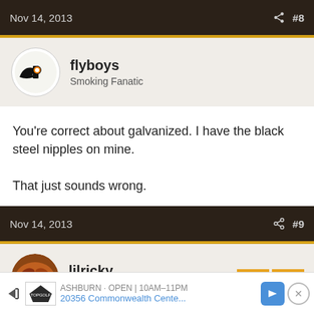Nov 14, 2013  #8
flyboys
Smoking Fanatic
You're correct about galvanized. I have the black steel nipples on mine.

That just sounds wrong.
Nov 14, 2013  #9
lilricky
Smoke Blower
jamieM said: